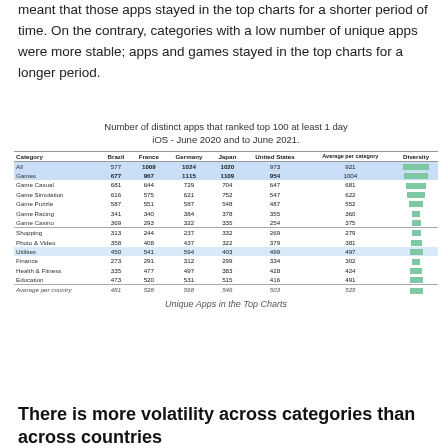meant that those apps stayed in the top charts for a shorter period of time. On the contrary, categories with a low number of unique apps were more stable; apps and games stayed in the top charts for a longer period.
[Figure (table-as-image): Table showing number of distinct apps that ranked top 100 at least 1 day on iOS, June 2020 to June 2021, by category and country (Brazil, France, Germany, Japan, United States), with average per category and diversity color bars.]
Unique Apps in the Top Charts
There is more volatility across categories than across countries